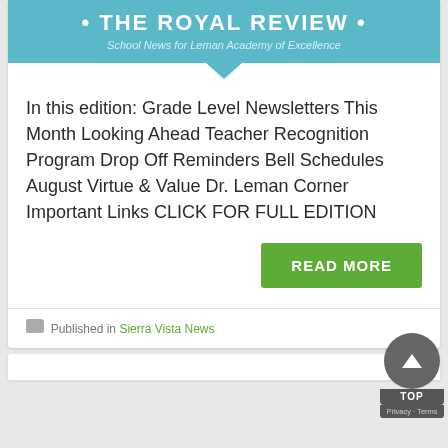[Figure (illustration): The Royal Review banner - teal/blue background with white text 'THE ROYAL REVIEW' and subtitle 'School News for Leman Academy of Excellence', with a downward-pointing arrow at bottom]
In this edition: Grade Level Newsletters This Month Looking Ahead Teacher Recognition Program Drop Off Reminders Bell Schedules August Virtue & Value Dr. Leman Corner Important Links CLICK FOR FULL EDITION
READ MORE
Published in Sierra Vista News